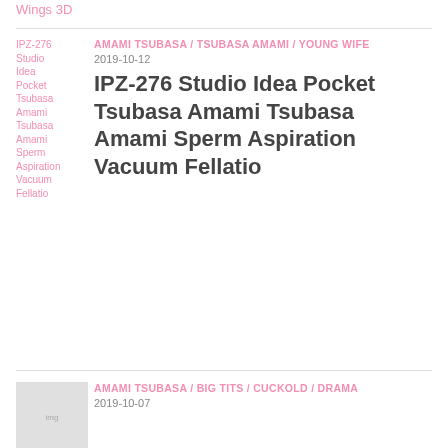Wings 3D
AMAMI TSUBASA / TSUBASA AMAMI / YOUNG WIFE
2019-10-12
IPZ-276 Studio Idea Pocket Tsubasa Amami Tsubasa Amami Sperm Aspiration Vacuum Fellatio
AMAMI TSUBASA / BIG TITS / CUCKOLD / DRAMA
2019-10-07